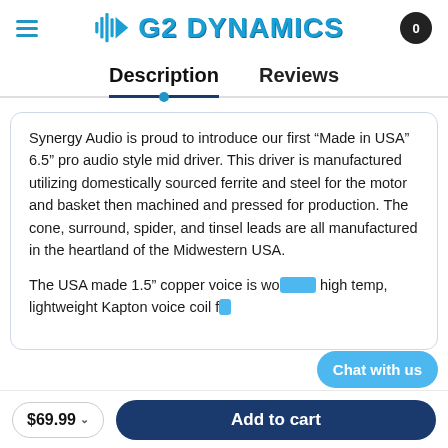G2 DYNAMICS
Description  Reviews
Synergy Audio is proud to introduce our first “Made in USA” 6.5” pro audio style mid driver. This driver is manufactured utilizing domestically sourced ferrite and steel for the motor and basket then machined and pressed for production. The cone, surround, spider, and tinsel leads are all manufactured in the heartland of the Midwestern USA.

The USA made 1.5” copper voice is wo... high temp, lightweight Kapton voice coil f...
$69.99
Add to cart
Chat with us